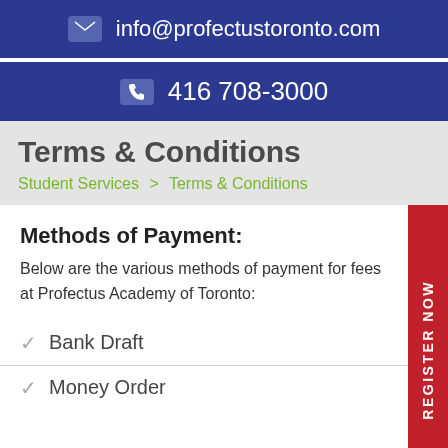info@profectustoronto.com
416 708-3000
Terms & Conditions
Student Services > Terms & Conditions
Methods of Payment:
Below are the various methods of payment for fees at Profectus Academy of Toronto:
Bank Draft
Money Order